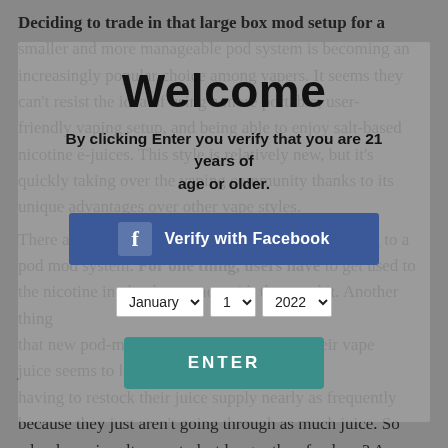Deciding to trade in that large box mod setup for a smaller and more manageable pod system is becoming an increasingly popular choice among vapers. It seems they can't resist the idea of using a more portable, user-friendly vaping setup, and being able to enjoy salt-based nicotine e-juices. This style is relatively new, but it's quickly taking over the vaping community thanks to its unique advantages over other vape styles. There are many adjustments to make when switching to a pod mod system. For one thing, users have to get used to the nicotine intake that comes with the new kit. Another thing that new pod-mod users will notice is that their vape juice seems to last longer – they aren't having to restock their juice supply nearly as frequently because they just aren't going through as much juice. So why does nic salt seem to last longer than freebase? As you'll see, there are actually several answers to this
Welcome
By clicking Enter you verify that you are 21 years of age or older.
[Figure (screenshot): Blue Facebook verification button with Facebook logo icon and text 'Verify with Facebook']
January  1  2022
[Figure (screenshot): Teal green ENTER button]